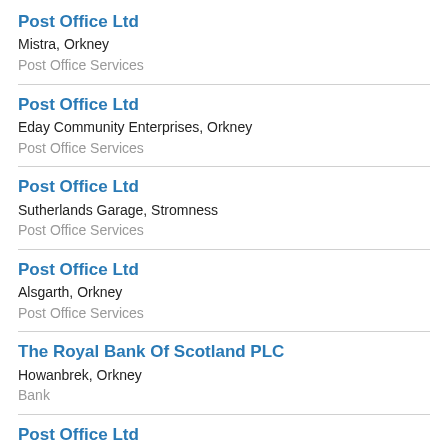Post Office Ltd
Mistra, Orkney
Post Office Services
Post Office Ltd
Eday Community Enterprises, Orkney
Post Office Services
Post Office Ltd
Sutherlands Garage, Stromness
Post Office Services
Post Office Ltd
Alsgarth, Orkney
Post Office Services
The Royal Bank Of Scotland PLC
Howanbrek, Orkney
Bank
Post Office Ltd
Sanday, Orkney